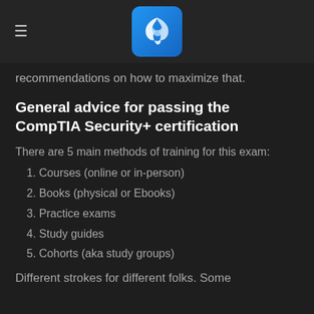≡ [Logo]
recommendations on how to maximize that.
General advice for passing the CompTIA Security+ certification
There are 5 main methods of training for this exam:
1. Courses (online or in-person)
2. Books (physical or Ebooks)
3. Practice exams
4. Study guides
5. Cohorts (aka study groups)
Different strokes for different folks. Some